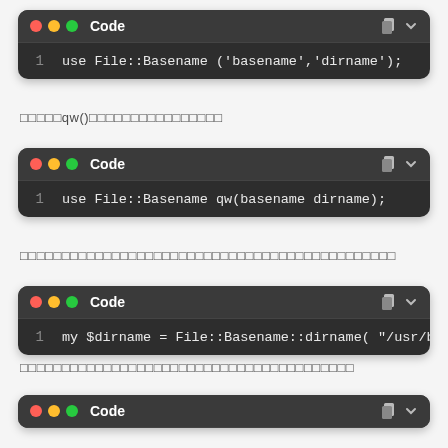[Figure (screenshot): Code block 1: use File::Basename ('basename','dirname');]
□□□□□qw()□□□□□□□□□□□□□□□□
[Figure (screenshot): Code block 2: use File::Basename qw(basename dirname);]
□□□□□□□□□□□□□□□□□□□□□□□□□□□□□□□□□□□□□□□□□□□□□
[Figure (screenshot): Code block 3: my $dirname = File::Basename::dirname( "/usr/bin/"]
□□□□□□□□□□□□□□□□□□□□□□□□□□□□□□□□□□□□□□□□
[Figure (screenshot): Code block 4 header only (Code label shown)]